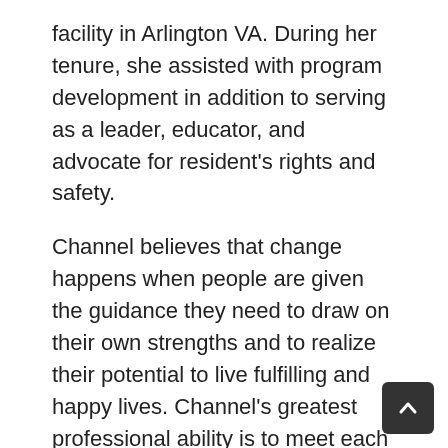facility in Arlington VA. During her tenure, she assisted with program development in addition to serving as a leader, educator, and advocate for resident's rights and safety.
Channel believes that change happens when people are given the guidance they need to draw on their own strengths and to realize their potential to live fulfilling and happy lives. Channel's greatest professional ability is to meet each individual's unique needs by building rapport and an in-depth understanding of their circumstances and problems to be able to assist them in enhancing their quality of life.
In her free time, she enjoys traveling, remodeling furniture, entertaining, and spending time with